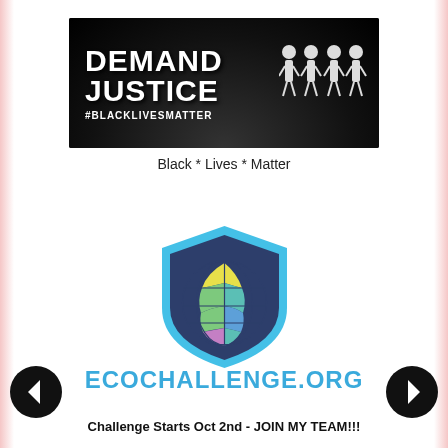[Figure (illustration): Black banner with 'DEMAND JUSTICE #BLACKLIVESMATTER' text in white and stick figure icons on the right, crowd silhouette background]
Black * Lives * Matter
[Figure (logo): EcoChallenge.org shield logo: dark navy shield shape with light blue border, containing a colorful globe with yellow, green, teal, blue, and purple segments]
ECOCHALLENGE.ORG
Challenge Starts Oct 2nd - JOIN MY TEAM!!!